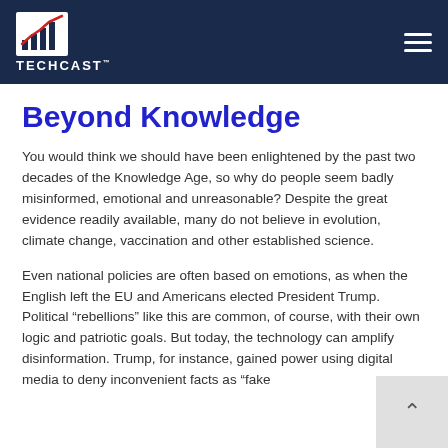TECHCAST
Beyond Knowledge
You would think we should have been enlightened by the past two decades of the Knowledge Age, so why do people seem badly misinformed, emotional and unreasonable? Despite the great evidence readily available, many do not believe in evolution, climate change, vaccination and other established science.
Even national policies are often based on emotions, as when the English left the EU and Americans elected President Trump. Political “rebellions” like this are common, of course, with their own logic and patriotic goals. But today, the technology can amplify disinformation. Trump, for instance, gained power using digital media to deny inconvenient facts as “fake